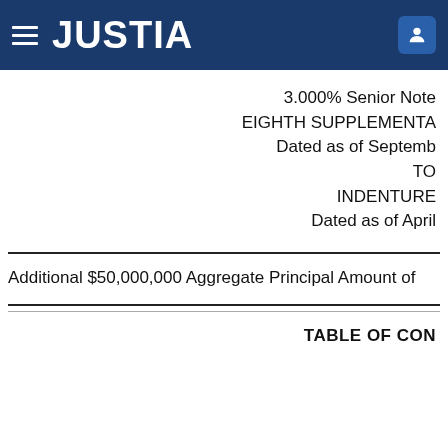JUSTIA
3.000% Senior Note
EIGHTH SUPPLEMENTA
Dated as of Septemb
TO
INDENTURE
Dated as of April
Additional $50,000,000 Aggregate Principal Amount of
TABLE OF CON